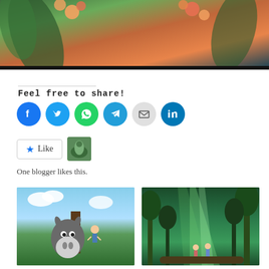[Figure (illustration): Blog banner image with floral/nature background and title 'Arrietty's Song' in bold white outlined text]
Feel free to share!
[Figure (infographic): Social sharing icons: Facebook (blue), Twitter (blue), WhatsApp (green), Telegram (blue), Email (gray), LinkedIn (blue)]
[Figure (infographic): Like button with star icon and 'Like', plus a small avatar thumbnail]
One blogger likes this.
[Figure (illustration): Thumbnail image of Studio Ghibli's My Neighbor Totoro - Totoro and characters on a tree branch]
21 Studio Ghibli Movies on Netflix from 1 Feb 2020
January 20, 2020
In "News"
[Figure (illustration): Thumbnail image of When Marnie Was There (2014) - forest scene with green light]
When Marnie Was There (2014)
January 23, 2021
In "Others"